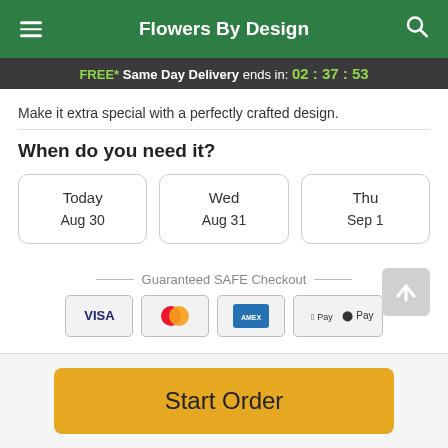Flowers By Design
FREE* Same Day Delivery ends in: 02:37:53
Make it extra special with a perfectly crafted design.
When do you need it?
Today
Aug 30
Wed
Aug 31
Thu
Sep 1
Guaranteed SAFE Checkout
Start Order